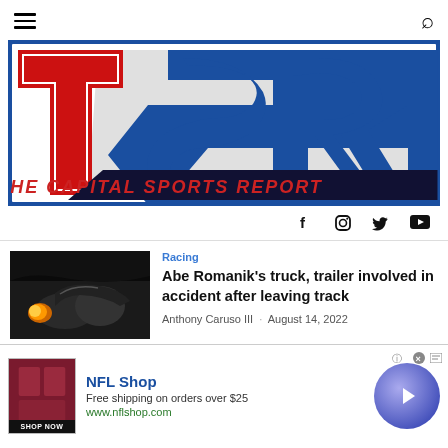The Capital Sports Report - navigation header with hamburger menu and search icon
[Figure (logo): The Capital Sports Report (TSR) logo — large blue bordered rectangle with stylized T, S, R letters in red and blue/grey, with tagline THE CAPITAL SPORTS REPORT in red italic text]
Social icons: Facebook, Instagram, Twitter, YouTube
Racing
Abe Romanik's truck, trailer involved in accident after leaving track
Anthony Caruso III · August 14, 2022
Racing
Search for
[Figure (infographic): NFL Shop advertisement banner: red product image, NFL Shop title in blue, Free shipping on orders over $25, www.nflshop.com, SHOP NOW button, close button, and blue circle navigation arrow]